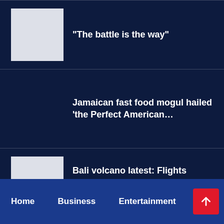“The battle is the way”
Jamaican fast food mogul hailed ‘the Perfect American…
Bali volcano latest: Flights resume to Indonesian island as…
Home   Business   Entertainment